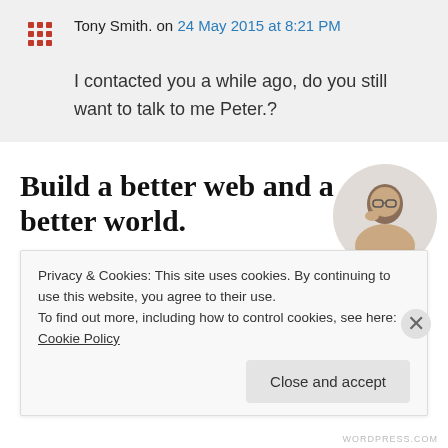Tony Smith. on 24 May 2015 at 8:21 PM
I contacted you a while ago, do you still want to talk to me Peter.?
Build a better web and a better world.
[Figure (illustration): A circular photo of a man with glasses and beard, thinking, on a light grey background]
Privacy & Cookies: This site uses cookies. By continuing to use this website, you agree to their use.
To find out more, including how to control cookies, see here: Cookie Policy